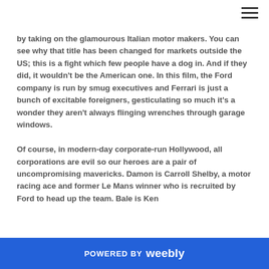by taking on the glamourous Italian motor makers. You can see why that title has been changed for markets outside the US; this is a fight which few people have a dog in. And if they did, it wouldn't be the American one. In this film, the Ford company is run by smug executives and Ferrari is just a bunch of excitable foreigners, gesticulating so much it's a wonder they aren't always flinging wrenches through garage windows.

Of course, in modern-day corporate-run Hollywood, all corporations are evil so our heroes are a pair of uncompromising mavericks. Damon is Carroll Shelby, a motor racing ace and former Le Mans winner who is recruited by Ford to head up the team. Bale is Ken
POWERED BY weebly